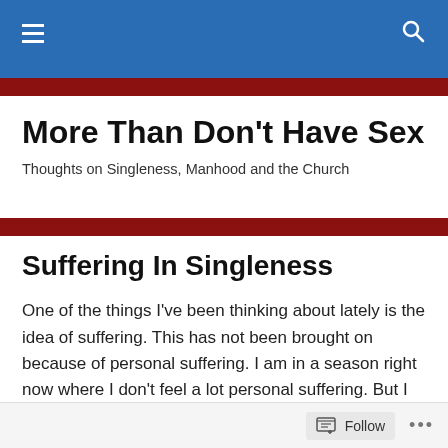More Than Don't Have Sex — navigation header with hamburger menu and search icon
More Than Don't Have Sex
Thoughts on Singleness, Manhood and the Church
Suffering In Singleness
One of the things I've been thinking about lately is the idea of suffering.  This has not been brought on because of personal suffering.  I am in a season right now where I don't feel a lot personal suffering.  But I have had many seasons where I have.  This was especially true when I was single.
Follow